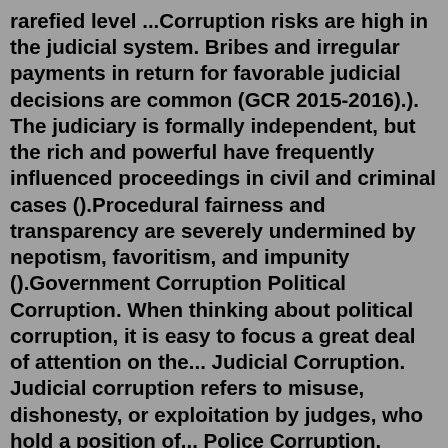rarefied level ...Corruption risks are high in the judicial system. Bribes and irregular payments in return for favorable judicial decisions are common (GCR 2015-2016).). The judiciary is formally independent, but the rich and powerful have frequently influenced proceedings in civil and criminal cases ().Procedural fairness and transparency are severely undermined by nepotism, favoritism, and impunity ().Government Corruption Political Corruption. When thinking about political corruption, it is easy to focus a great deal of attention on the... Judicial Corruption. Judicial corruption refers to misuse, dishonesty, or exploitation by judges, who hold a position of... Police Corruption. Police ...Corruption means the state of being bad and dishonest, especially in matters concerning money. It creates a very impact to the country's education, occupation, living style and mostly the humanity. ... includes persons like higher authorities, officers, police officers, clerks, peons, etc. For example, If we